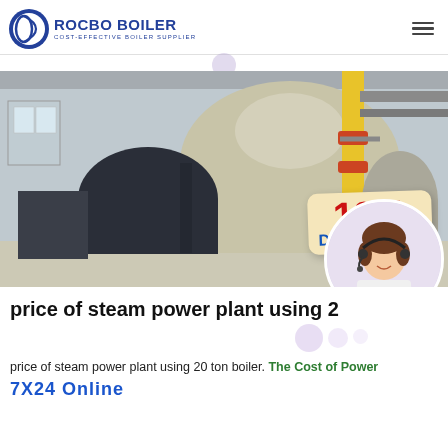[Figure (logo): Rocbo Boiler logo with circular icon and text 'ROCBO BOILER, COST-EFFECTIVE BOILER SUPPLIER']
[Figure (photo): Industrial boiler room with large steam boilers, yellow pipes, and a 10% DISCOUNT badge overlay. A female customer service agent in headset appears in circular cutout.]
price of steam power plant using 2
price of steam power plant using 20 ton boiler. The Cost of Power 7X24 Online